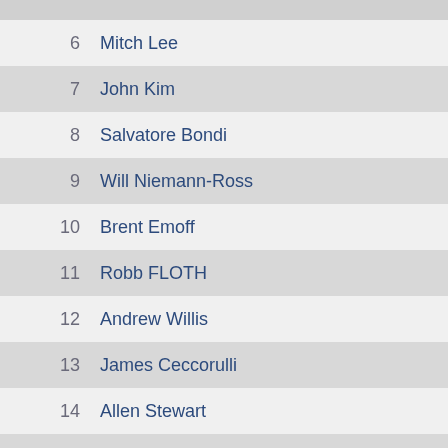6  Mitch Lee
7  John Kim
8  Salvatore Bondi
9  Will Niemann-Ross
10  Brent Emoff
11  Robb FLOTH
12  Andrew Willis
13  James Ceccorulli
14  Allen Stewart
15  David Lelong
16  Mike Bene